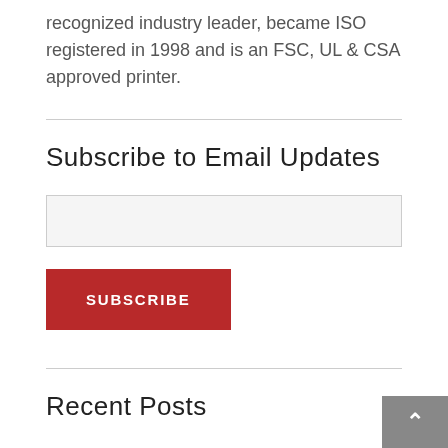recognized industry leader, became ISO registered in 1998 and is an FSC, UL & CSA approved printer.
Subscribe to Email Updates
[email input field]
SUBSCRIBE
Recent Posts